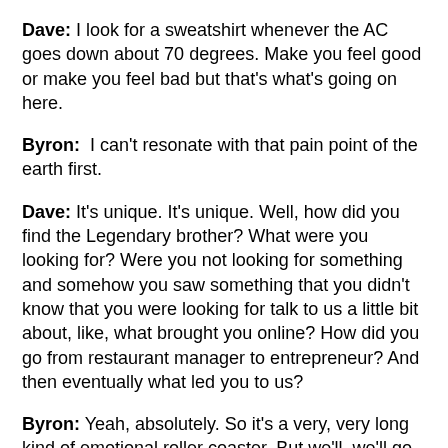Dave: I look for a sweatshirt whenever the AC goes down about 70 degrees. Make you feel good or make you feel bad but that's what's going on here.
Byron:  I can't resonate with that pain point of the earth first.
Dave: It's unique. It's unique. Well, how did you find the Legendary brother? What were you looking for? Were you not looking for something and somehow you saw something that you didn't know that you were looking for talk to us a little bit about, like, what brought you online? How did you go from restaurant manager to entrepreneur? And then eventually what led you to us?
Byron: Yeah, absolutely. So it's a very, very long kind of emotional roller coaster. But we'll, we'll go ahead and